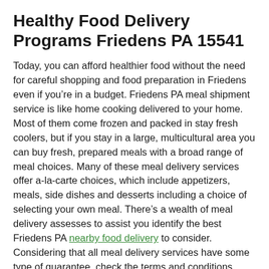Healthy Food Delivery Programs Friedens PA 15541
Today, you can afford healthier food without the need for careful shopping and food preparation in Friedens even if you’re in a budget. Friedens PA meal shipment service is like home cooking delivered to your home. Most of them come frozen and packed in stay fresh coolers, but if you stay in a large, multicultural area you can buy fresh, prepared meals with a broad range of meal choices. Many of these meal delivery services offer a-la-carte choices, which include appetizers, meals, side dishes and desserts including a choice of selecting your own meal. There’s a wealth of meal delivery assesses to assist you identify the best Friedens PA nearby food delivery to consider. Considering that all meal delivery services have some type of guarantee, check the terms and conditions carefully. Plan term will certainly vary from company to company so assess the business by looking for food delivery examines from